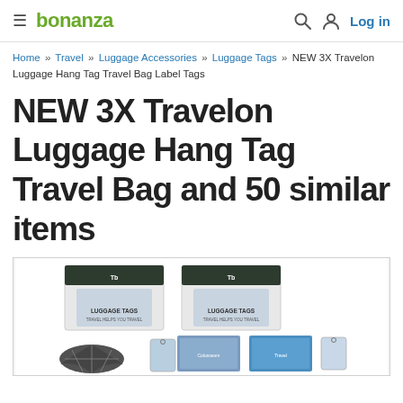bonanza — Log in
Home » Travel » Luggage Accessories » Luggage Tags » NEW 3X Travelon Luggage Hang Tag Travel Bag Label Tags
NEW 3X Travelon Luggage Hang Tag Travel Bag and 50 similar items
[Figure (photo): Product photo showing Travelon luggage hang tags in packaging labeled LUGGAGE TAGS, with decorative tags showing travel imagery including the Colosseum and coastal scenes, along with shell-shaped tags on a white background.]